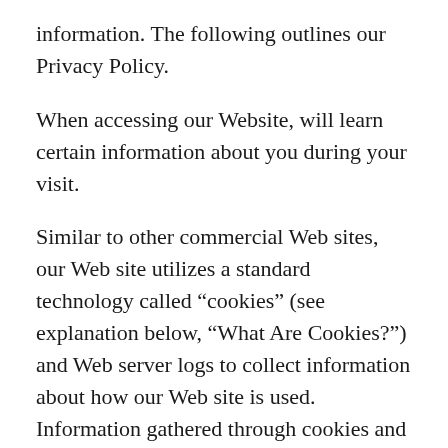information. The following outlines our Privacy Policy.
When accessing our Website, will learn certain information about you during your visit.
Similar to other commercial Web sites, our Web site utilizes a standard technology called “cookies” (see explanation below, “What Are Cookies?”) and Web server logs to collect information about how our Web site is used. Information gathered through cookies and Web server logs may include the date and time of visits, the pages viewed, time spent at our Web site, and the Web sites visited just before and just